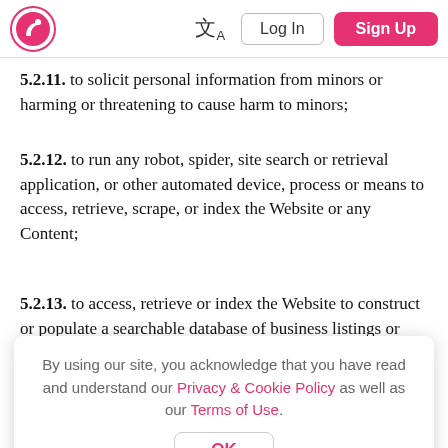Logo | 文A | Log In | Sign Up
5.2.11. to solicit personal information from minors or harming or threatening to cause harm to minors;
5.2.12. to run any robot, spider, site search or retrieval application, or other automated device, process or means to access, retrieve, scrape, or index the Website or any Content;
5.2.13. to access, retrieve or index the Website to construct or populate a searchable database of business listings or reviews:
By using our site, you acknowledge that you have read and understand our Privacy & Cookie Policy as well as our Terms of Use.
OK
damage, detrimentally interfere with, surreptitiously intercept or expropriate any system, data or other